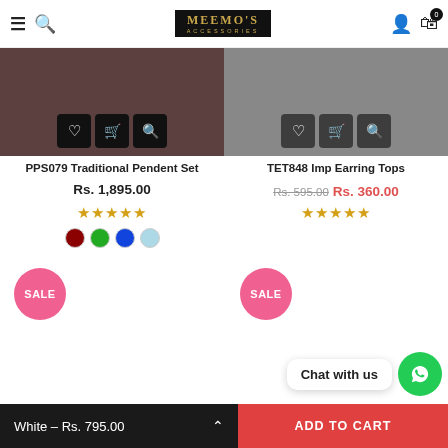MEEMO'S ACCESSORIES — navigation header with hamburger, search, logo, account, cart (0)
[Figure (screenshot): Product image area for PPS079 Traditional Pendent Set with dark brown background and action buttons (wishlist, cart, zoom)]
PPS079 Traditional Pendent Set
Rs. 1,895.00
Star rating: 0/5
Color swatches: dark red, green, blue, light blue
[Figure (screenshot): Product image area for TET848 Imp Earring Tops with gray background and action buttons (wishlist, cart, zoom)]
TET848 Imp Earring Tops
Rs. 595.00  Rs. 360.00
Star rating: 0/5
SALE badge (left product)
SALE badge (right product)
Chat with us
White – Rs. 795.00   ADD TO CART